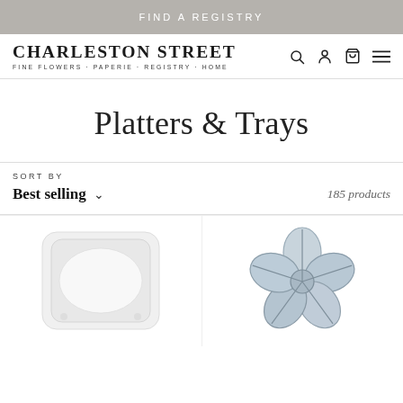FIND A REGISTRY
[Figure (logo): Charleston Street logo with tagline: FINE FLOWERS · PAPERIE · REGISTRY · HOME, with search, account, cart, and menu icons]
Platters & Trays
SORT BY
Best selling
185 products
[Figure (photo): White ceramic rectangular platter with decorative edges, viewed from above on white background]
[Figure (photo): Flower-shaped ceramic dish with blue-grey glaze and petal compartments, viewed from above]